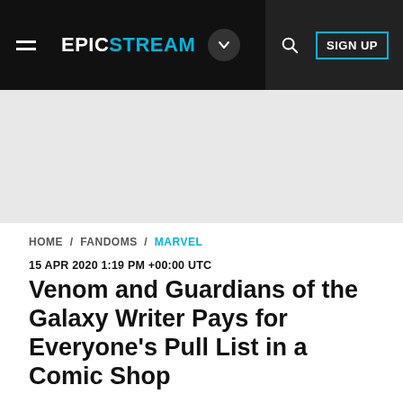EPICSTREAM
HOME / FANDOMS / MARVEL
15 APR 2020 1:19 PM +00:00 UTC
Venom and Guardians of the Galaxy Writer Pays for Everyone's Pull List in a Comic Shop
Just when you thought comic book writers can't be as good as the heroes they write for, Donni…